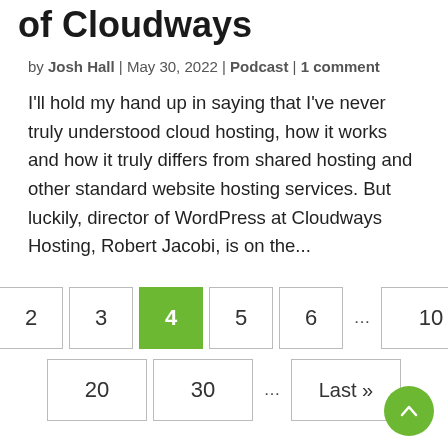of Cloudways
by Josh Hall | May 30, 2022 | Podcast | 1 comment
I'll hold my hand up in saying that I've never truly understood cloud hosting, how it works and how it truly differs from shared hosting and other standard website hosting services. But luckily, director of WordPress at Cloudways Hosting, Robert Jacobi, is on the...
Pagination: … 2 3 4 5 6 … 10 / 20 30 … Last»